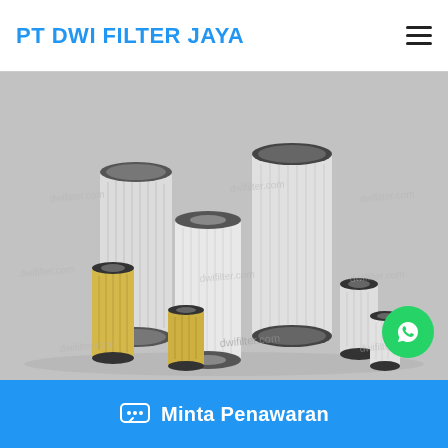PT DWI FILTER JAYA
[Figure (photo): Product photo showing multiple cylindrical air filter elements of various sizes. Filters are white/grey and yellow with black end caps, arranged in a group on a grey background. Watermarks reading 'dwifilter.com' are overlaid across the image.]
Minta Penawaran